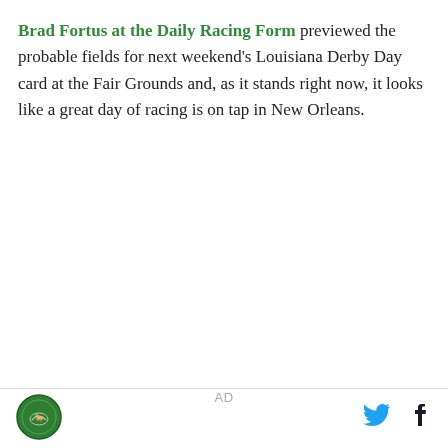Brad Fortus at the Daily Racing Form previewed the probable fields for next weekend's Louisiana Derby Day card at the Fair Grounds and, as it stands right now, it looks like a great day of racing is on tap in New Orleans.
[Figure (other): AD placeholder text centered on page]
[Figure (logo): Green circular logo with horse racing imagery in the page footer]